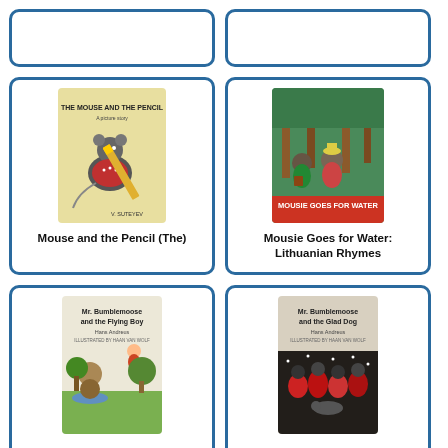[Figure (illustration): Top-left book card, partially visible, cut off at top]
[Figure (illustration): Top-right book card, partially visible, cut off at top]
[Figure (illustration): Book cover: The Mouse and the Pencil by V. Suteyev - a mouse holding a pencil on yellow background]
Mouse and the Pencil (The)
[Figure (illustration): Book cover: Mousie Goes for Water: Lithuanian Rhymes - cartoon mice in green forest scene]
Mousie Goes for Water: Lithuanian Rhymes
[Figure (illustration): Book cover: Mr. Bumblemoose and the Flying Boy by Hans Andreus]
[Figure (illustration): Book cover: Mr. Bumblemoose and the Glad Dog by Hans Andreus]